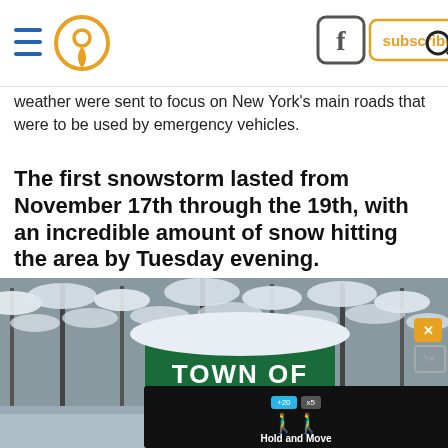Navigation bar with hamburger menu, location pin icon, Facebook icon, subscribe button, search icon
weather were sent to focus on New York's main roads that were to be used by emergency vehicles.
The first snowstorm lasted from November 17th through the 19th, with an incredible amount of snow hitting the area by Tuesday evening.
[Figure (photo): Snow-covered green Town of Elma road sign in winter landscape with snow-laden trees in background. Overlay advertisement shows 'Hold and Move' text with walking figure icon on dark background.]